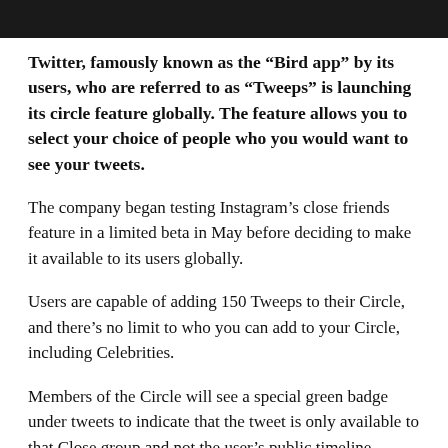[Figure (photo): Dark image strip at top of page, partially cropped]
Twitter, famously known as the “Bird app” by its users, who are referred to as “Tweeps” is launching its circle feature globally. The feature allows you to select your choice of people who you would want to see your tweets.
The company began testing Instagram’s close friends feature in a limited beta in May before deciding to make it available to its users globally.
Users are capable of adding 150 Tweeps to their Circle, and there’s no limit to who you can add to your Circle, including Celebrities.
Members of the Circle will see a special green badge under tweets to indicate that the tweet is only available to that Close group and not the user’s public timeline